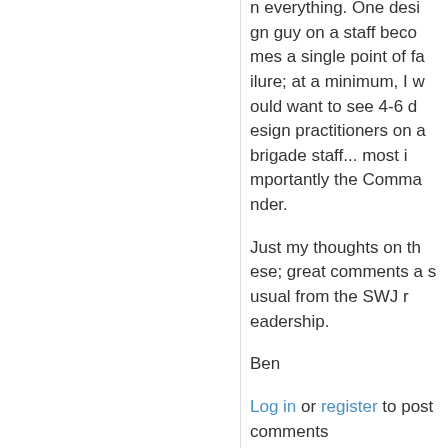n everything. One desi gn guy on a staff becomes a single point of failure; at a minimum, I would want to see 4-6 design practitioners on a brigade staff... most importantly the Commander.
Just my thoughts on these; great comments as usual from the SWJ readership.
Ben
Log in or register to post comments